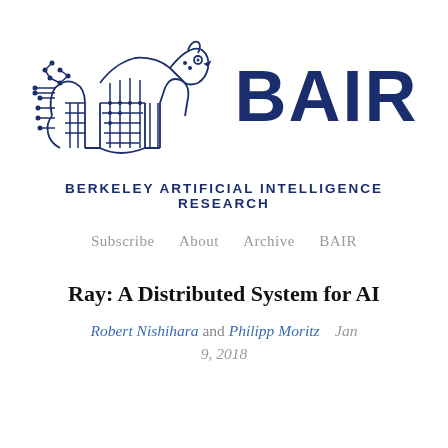[Figure (logo): BAIR (Berkeley Artificial Intelligence Research) logo featuring a bear made of circuit board patterns in dark blue, alongside the large text 'BAIR' in dark navy blue]
BERKELEY ARTIFICIAL INTELLIGENCE RESEARCH
Subscribe   About   Archive   BAIR
Ray: A Distributed System for AI
Robert Nishihara and Philipp Moritz   Jan 9, 2018